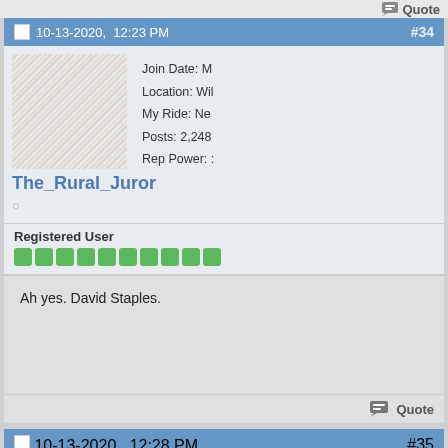Quote
10-13-2020, 12:23 PM #34
Join Date: M
Location: Wil
My Ride: Ne
Posts: 2,248
Rep Power: :
The_Rural_Juror
Registered User
Ah yes. David Staples.
Quote
10-13-2020, 12:28 PM #35
Join Date: Ja
Location: No
My Ride: Oil
Posts: 11,16